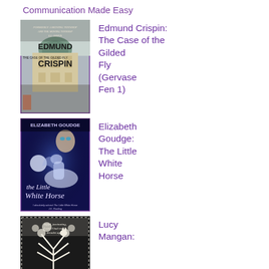Communication Made Easy
[Figure (illustration): Book cover of Edmund Crispin: The Case of the Gilded Fly with purple border, showing Oxford buildings]
Edmund Crispin: The Case of the Gilded Fly (Gervase Fen 1)
[Figure (illustration): Book cover of Elizabeth Goudge: The Little White Horse with purple border, showing a white horse and mystical blue background]
Elizabeth Goudge: The Little White Horse
[Figure (illustration): Book cover of Lucy Mangan book with purple border, black and white illustration of a tree with a cat]
Lucy Mangan: